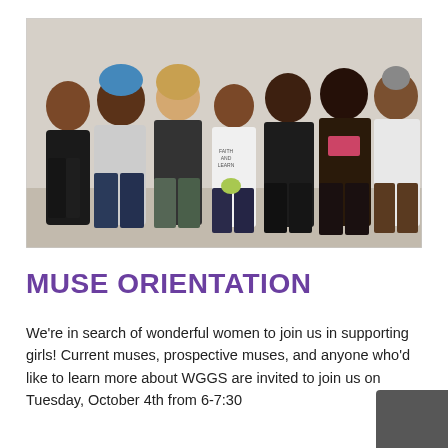[Figure (photo): Group photo of seven women standing together indoors, smiling at the camera. One woman wears a blue head covering, one has curly blonde hair, several are wearing dark jackets and casual clothes.]
MUSE ORIENTATION
We're in search of wonderful women to join us in supporting girls! Current muses, prospective muses, and anyone who'd like to learn more about WGGS are invited to join us on Tuesday, October 4th from 6-7:30